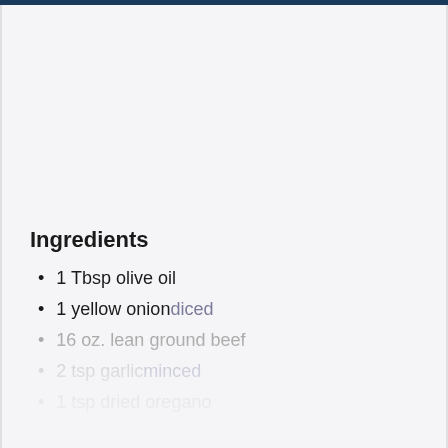Ingredients
1 Tbsp olive oil
1 yellow onion diced
16 oz. lean ground beef
2 tsp garlic minced
1 tsp dried oregano